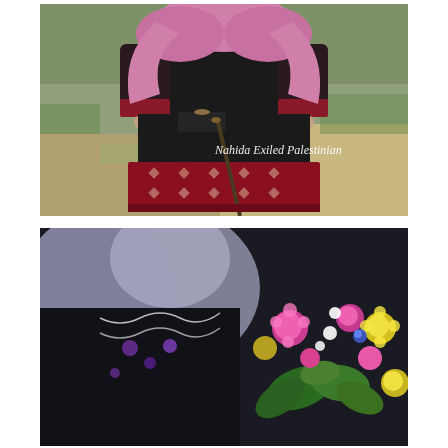[Figure (photo): A woman wearing a black dress with red embroidered hem and trim, and a pink hijab, standing on grassy terrain, holding a walking stick and a black handbag. Watermark text reads 'Nahida Exiled Palestinian'.]
[Figure (photo): Close-up of a woman in a black garment with white and purple floral embroidery, wearing a grey hijab, holding colorful wildflowers including pink, yellow, white and blue blooms with green leaves.]